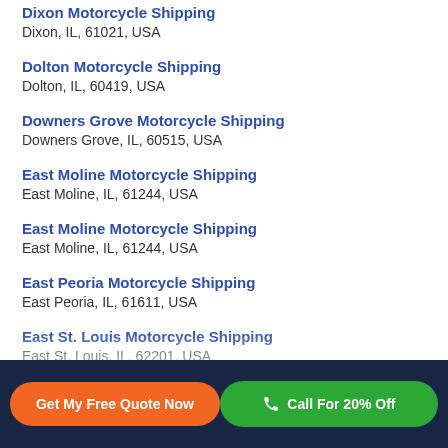Dixon Motorcycle Shipping
Dixon, IL, 61021, USA
Dolton Motorcycle Shipping
Dolton, IL, 60419, USA
Downers Grove Motorcycle Shipping
Downers Grove, IL, 60515, USA
East Moline Motorcycle Shipping
East Moline, IL, 61244, USA
East Moline Motorcycle Shipping
East Moline, IL, 61244, USA
East Peoria Motorcycle Shipping
East Peoria, IL, 61611, USA
East St. Louis Motorcycle Shipping
East St. Louis, IL, 62201, USA
Get My Free Quote Now | Call For 20% Off